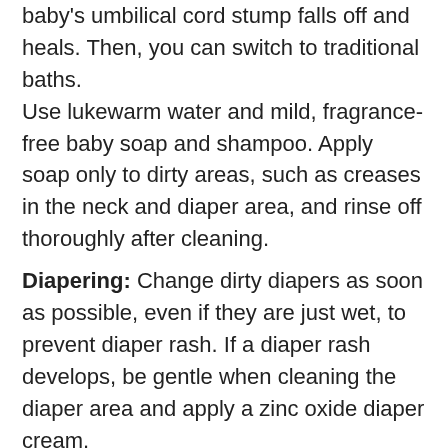baby's umbilical cord stump falls off and heals. Then, you can switch to traditional baths. Use lukewarm water and mild, fragrance-free baby soap and shampoo. Apply soap only to dirty areas, such as creases in the neck and diaper area, and rinse off thoroughly after cleaning.
Diapering: Change dirty diapers as soon as possible, even if they are just wet, to prevent diaper rash. If a diaper rash develops, be gentle when cleaning the diaper area and apply a zinc oxide diaper cream.
Caring for nails: Trim your baby's nails whenever they get sharp to prevent scratches. Use a nail file or emery board to create a rounded, not jagged, shape.
Laundering: Wash baby blankets, sheets and clothing before and after use, using fragrance-free detergents.
Sun protection: Shade is the best protection. If there's